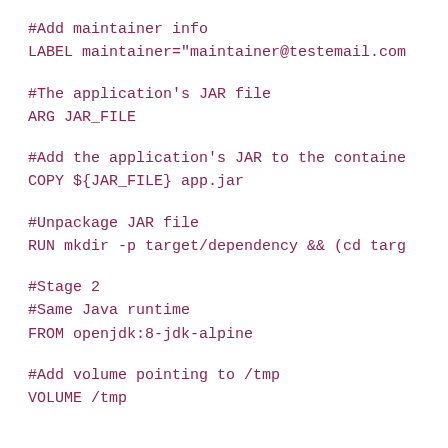#Add maintainer info
LABEL maintainer="maintainer@testemail.com
#The application's JAR file
ARG JAR_FILE
#Add the application's JAR to the container
COPY ${JAR_FILE} app.jar
#Unpackage JAR file
RUN mkdir -p target/dependency && (cd targ
#Stage 2
#Same Java runtime
FROM openjdk:8-jdk-alpine
#Add volume pointing to /tmp
VOLUME /tmp